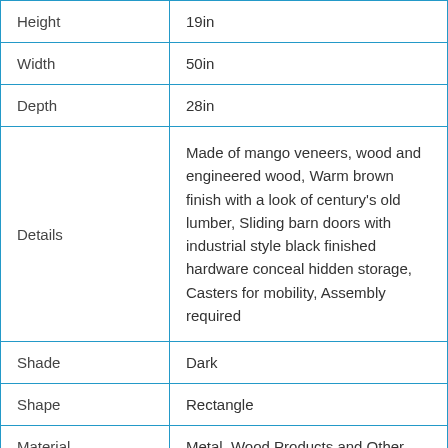| Attribute | Value |
| --- | --- |
| Height | 19in |
| Width | 50in |
| Depth | 28in |
| Details | Made of mango veneers, wood and engineered wood, Warm brown finish with a look of century's old lumber, Sliding barn doors with industrial style black finished hardware conceal hidden storage, Casters for mobility, Assembly required |
| Shade | Dark |
| Shape | Rectangle |
| Material | Metal, Wood Products and Other |